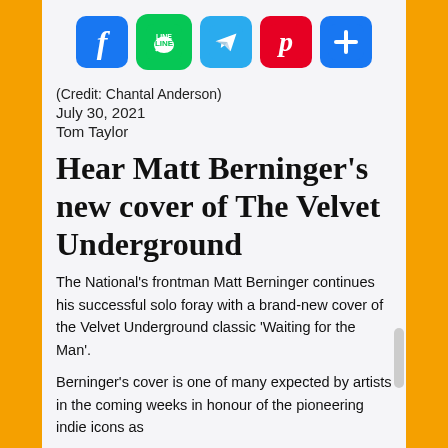[Figure (other): Social media sharing icons: Facebook, LINE, Telegram, Pinterest, Share/Add]
(Credit: Chantal Anderson)
July 30, 2021
Tom Taylor
Hear Matt Berninger’s new cover of The Velvet Underground
The National's frontman Matt Berninger continues his successful solo foray with a brand-new cover of the Velvet Underground classic ‘Waiting for the Man’.
Berninger's cover is one of many expected by artists in the coming weeks in honour of the pioneering indie icons as